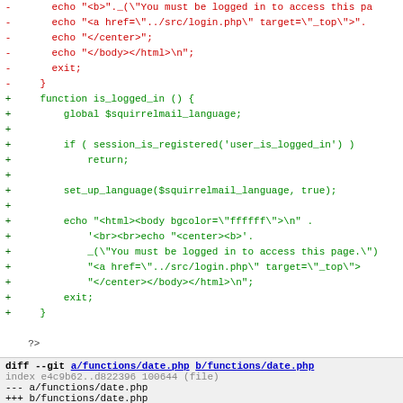[Figure (screenshot): Diff view showing removed lines (red) and added lines (green) in a PHP file, followed by a new diff block for functions/date.php]
diff --git a/functions/date.php b/functions/date.php
index e4c9b62..d822396 100644 (file)
--- a/functions/date.php
+++ b/functions/date.php
@@ -10,10 +10,6 @@
    **  $Id$
    **/